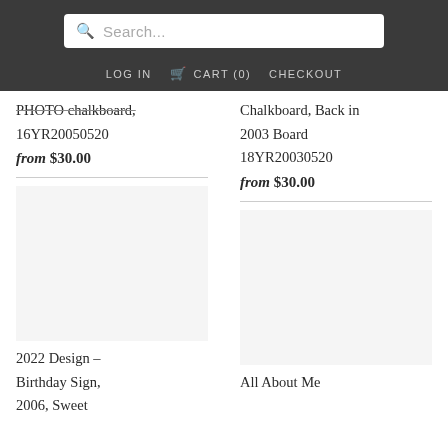Search... | LOG IN | CART (0) | CHECKOUT
PHOTO chalkboard, 16YR20050520
from $30.00
Chalkboard, Back in 2003 Board 18YR20030520
from $30.00
2022 Design – Birthday Sign, 2006, Sweet
All About Me